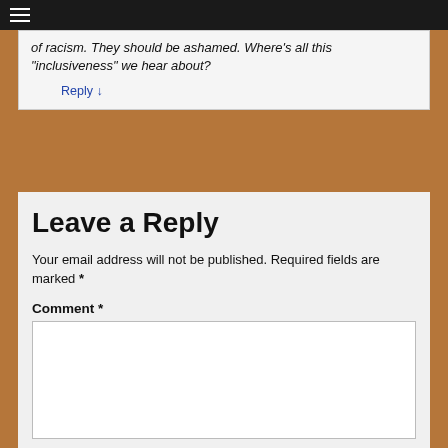≡
of racism. They should be ashamed. Where's all this "inclusiveness" we hear about?
Reply ↓
Leave a Reply
Your email address will not be published. Required fields are marked *
Comment *
Name *